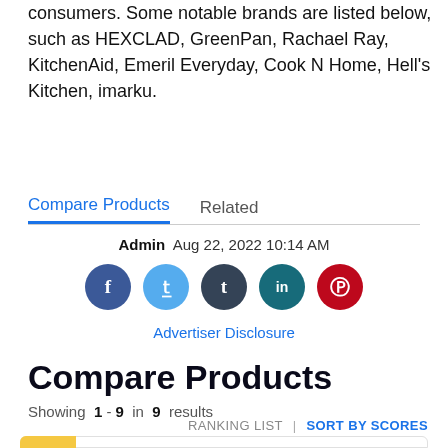consumers. Some notable brands are listed below, such as HEXCLAD, GreenPan, Rachael Ray, KitchenAid, Emeril Everyday, Cook N Home, Hell's Kitchen, imarku.
Compare Products   Related
Admin  Aug 22, 2022 10:14 AM
[Figure (other): Social media share icons: Facebook (blue), Twitter (light blue), Tumblr (dark blue-gray), LinkedIn (teal), Pinterest (red)]
Advertiser Disclosure
Compare Products
Showing 1 - 9 in 9 results
RANKING LIST | SORT BY SCORES
1  TOP CHOICE